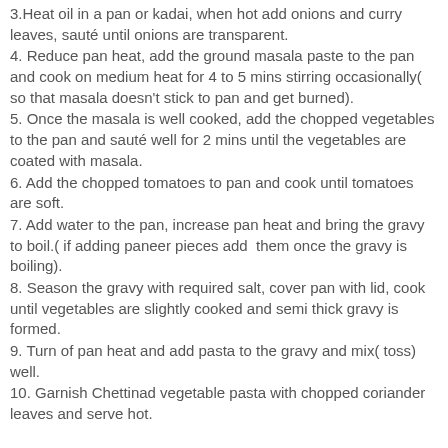3.Heat oil in a pan or kadai, when hot add onions and curry leaves, sauté until onions are transparent.
4. Reduce pan heat, add the ground masala paste to the pan and cook on medium heat for 4 to 5 mins stirring occasionally( so that masala doesn't stick to pan and get burned).
5. Once the masala is well cooked, add the chopped vegetables to the pan and sauté well for 2 mins until the vegetables are coated with masala.
6. Add the chopped tomatoes to pan and cook until tomatoes are soft.
7. Add water to the pan, increase pan heat and bring the gravy to boil.( if adding paneer pieces add  them once the gravy is boiling).
8. Season the gravy with required salt, cover pan with lid, cook until vegetables are slightly cooked and semi thick gravy is formed.
9. Turn of pan heat and add pasta to the gravy and mix( toss) well.
10. Garnish Chettinad vegetable pasta with chopped coriander leaves and serve hot.